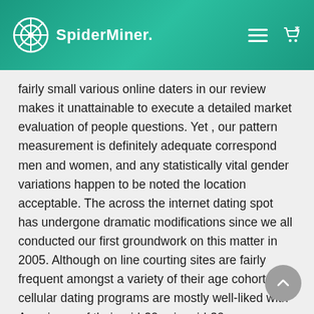SpiderMiner.
fairly small various online daters in our review makes it unattainable to execute a detailed market evaluation of people questions. Yet , our pattern measurement is definitely adequate correspond men and women, and any statistically vital gender variations happen to be noted the location acceptable. The across the internet dating spot has undergone dramatic modifications since we all conducted our first groundwork on this matter in 2005. Although on line courting sites are fairly frequent amongst a variety of their age cohorts, cellular dating programs are mostly well-liked with Americans of their mid-20s via mid-30s.
It's been around for quite a while, but in 2017, OKCupid did find a large upgrade each in aesthetics and